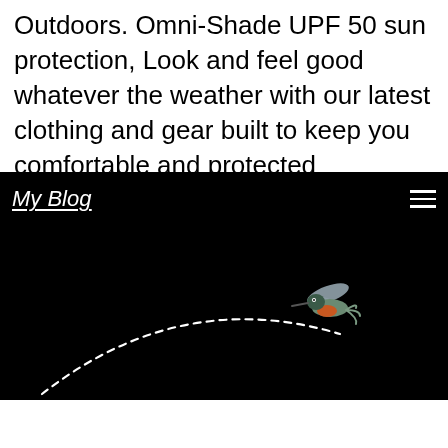Outdoors. Omni-Shade UPF 50 sun protection, Look and feel good whatever the weather with our latest clothing and gear built to keep you comfortable and protected throughout the season. Vented on back, Imported, Columbia Silver Ridge 2.
[Figure (screenshot): A dark/black website header for 'My Blog' with italic underlined white text on the left, a hamburger menu icon on the right, and a hummingbird mid-flight with a dashed curved flight path arc on a black background below the header.]